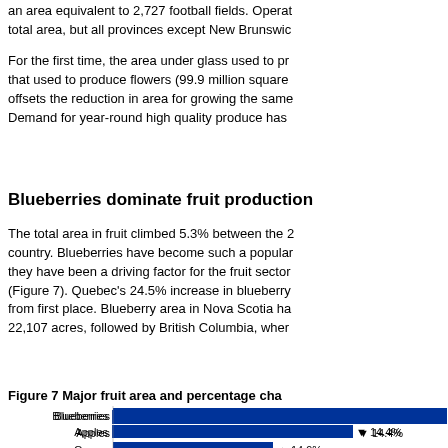an area equivalent to 2,727 football fields. Opera total area, but all provinces except New Brunswick
For the first time, the area under glass used to produce that used to produce flowers (99.9 million square offsets the reduction in area for growing the same Demand for year-round high quality produce has
Blueberries dominate fruit production
The total area in fruit climbed 5.3% between the 2 country. Blueberries have become such a popular they have been a driving factor for the fruit sector (Figure 7). Quebec's 24.5% increase in blueberry from first place. Blueberry area in Nova Scotia ha 22,107 acres, followed by British Columbia, wher
Figure 7 Major fruit area and percentage cha
[Figure (bar-chart): Figure 7 Major fruit area and percentage change]